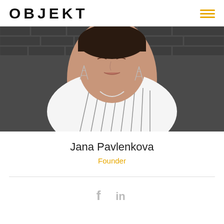OBJEKT
[Figure (photo): Portrait photo of Jana Pavlenkova wearing a white striped shirt and silver tower-shaped earrings, photographed against a dark grey brick wall background]
Jana Pavlenkova
Founder
[Figure (other): Social media icons: Facebook (f) and LinkedIn (in)]